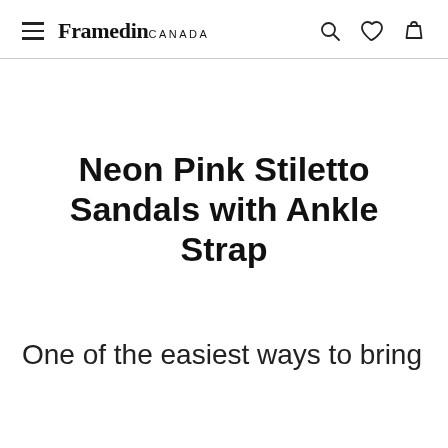Framedin CANADA
Neon Pink Stiletto Sandals with Ankle Strap
One of the easiest ways to bring